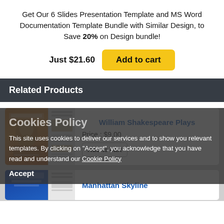Get Our 6 Slides Presentation Template and MS Word Documentation Template Bundle with Similar Design, to Save 20% on Design bundle!
Just $21.60  Add to cart
Related Products
[Figure (screenshot): Product thumbnail for William Shakespeare Plays — orange illustrated book cover with Shakespeare portrait and gray document preview]
William Shakespeare Plays
Price : $9.00
Add to cart
Cookies Policy
This site uses cookies to deliver our services and to show you relevant templates. By clicking on "Accept", you acknowledge that you have read and understand our Cookie Policy
Accept
[Figure (screenshot): Product thumbnail for Manhattan Skyline — blue presentation cover and gray document preview]
Manhattan Skyline